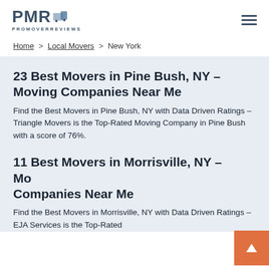PMR ProMoverReviews
Home > Local Movers > New York
23 Best Movers in Pine Bush, NY – Moving Companies Near Me
Find the Best Movers in Pine Bush, NY with Data Driven Ratings – Triangle Movers is the Top-Rated Moving Company in Pine Bush with a score of 76%.
11 Best Movers in Morrisville, NY – Moving Companies Near Me
Find the Best Movers in Morrisville, NY with Data Driven Ratings – EJA Services is the Top-Rated